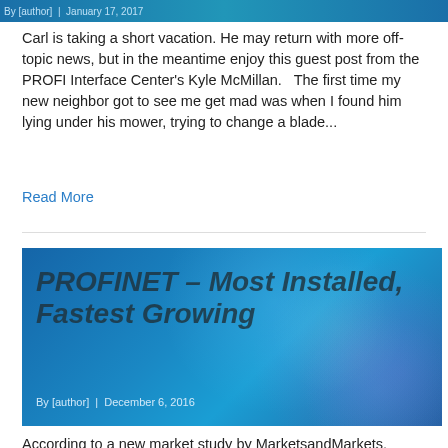By [author] | January 17, 2017
Carl is taking a short vacation. He may return with more off-topic news, but in the meantime enjoy this guest post from the PROFI Interface Center's Kyle McMillan.   The first time my new neighbor got to see me get mad was when I found him lying under his mower, trying to change a blade...
Read More
[Figure (photo): Blue gradient banner image with bokeh circles reading 'PROFINET – Most Installed, Fastest Growing' with byline 'By [author] | December 6, 2016']
According to a new market study by MarketsandMarkets, PROFINET is "the most popular automation network." And fastest growing. It's good to have independent confirmation of what I expected all along. Here at PI North America we see